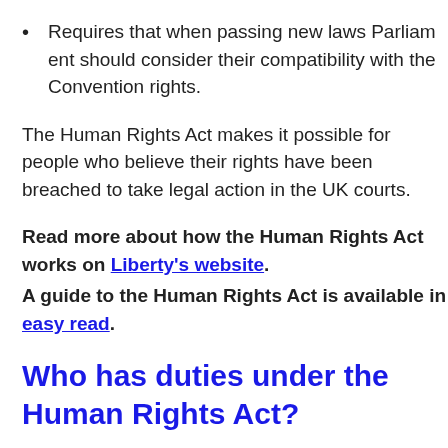Requires that when passing new laws Parliament should consider their compatibility with the Convention rights.
The Human Rights Act makes it possible for people who believe their rights have been breached to take legal action in the UK courts.
Read more about how the Human Rights Act works on Liberty's website. A guide to the Human Rights Act is available in easy read.
Who has duties under the Human Rights Act?